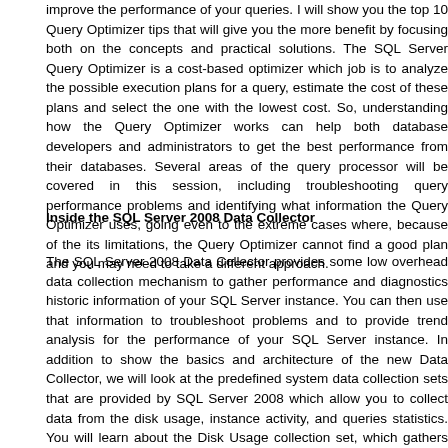improve the performance of your queries. I will show you the top 10 Query Optimizer tips that will give you the more benefit by focusing both on the concepts and practical solutions. The SQL Server Query Optimizer is a cost-based optimizer which job is to analyze the possible execution plans for a query, estimate the cost of these plans and select the one with the lowest cost. So, understanding how the Query Optimizer works can help both database developers and administrators to get the best performance from their databases. Several areas of the query processor will be covered in this session, including troubleshooting query performance problems and identifying what information the Query Optimizer uses, going even to the extreme cases where, because of the its limitations, the Query Optimizer cannot find a good plan and you may need to take a different approach.
Inside the SQL Server 2008 Data Collector
The SQL Server 2008 Data Collector provides some low overhead data collection mechanism to gather performance and diagnostics historic information of your SQL Server instance. You can then use that information to troubleshoot problems and to provide trend analysis for the performance of your SQL Server instance. In addition to show the basics and architecture of the new Data Collector, we will look at the predefined system data collection sets that are provided by SQL Server 2008 which allow you to collect data from the disk usage, instance activity, and queries statistics. You will learn about the Disk Usage collection set, which gathers statistics regarding the growth of the data and log files. You will also explore the Server Activity collection set which focus on the server activity and resource consumption, and finally learn about the Query Statistics collection set which collects data regarding the top queries in your instance.